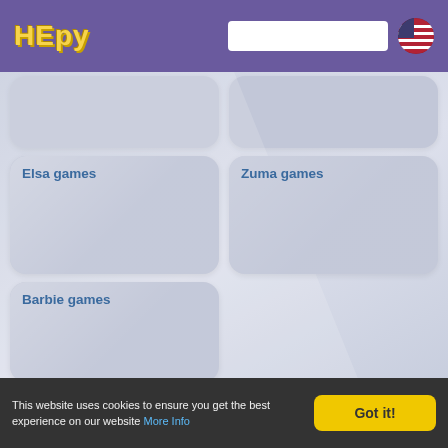HEPY - gaming website header with logo, search box, and US flag
[Figure (screenshot): Game category card - partially visible, no title shown (top row left)]
[Figure (screenshot): Game category card - partially visible, no title shown (top row right)]
Elsa games
[Figure (screenshot): Elsa games category card with light blue-gray background]
Zuma games
[Figure (screenshot): Zuma games category card with light blue-gray background]
Barbie games
[Figure (screenshot): Barbie games category card with light blue-gray background]
Featured games
This website uses cookies to ensure you get the best experience on our website More Info
Got it!